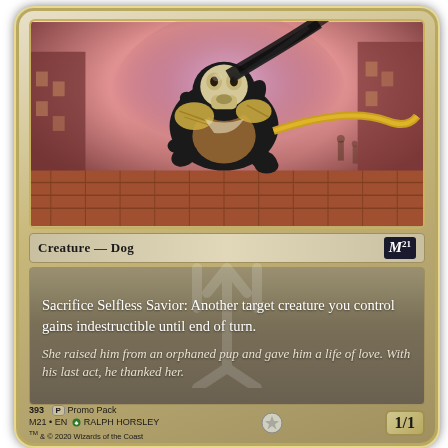[Figure (illustration): A dog creature wearing a skull mask and ornate armor, leaping through a city alley. The dog has dark fur with tan markings, flowing black hair/tail, and decorative golden armor pieces. Background shows brick architecture with purple/pink sky tones.]
Creature — Dog
M21
Sacrifice Selfless Savior: Another target creature you control gains indestructible until end of turn.
She raised him from an orphaned pup and gave him a life of love. With his last act, he thanked her.
393   P  Promo Pack
M21 • EN  RALPH HORSLEY   TM & © 2020 Wizards of the Coast   1/1